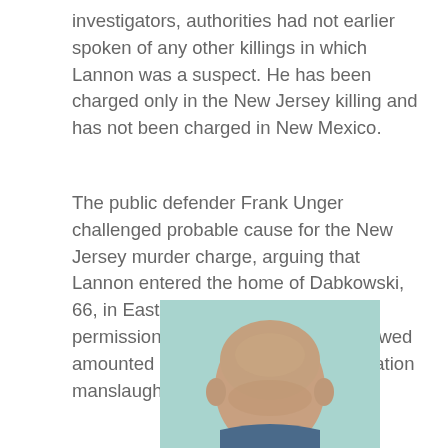investigators, authorities had not earlier spoken of any other killings in which Lannon was a suspect. He has been charged only in the New Jersey killing and has not been charged in New Mexico.
The public defender Frank Unger challenged probable cause for the New Jersey murder charge, arguing that Lannon entered the home of Dabkowski, 66, in East Greenwich Township with permission and that the acts that followed amounted at worst to passion provocation manslaughter, NJ.com reported.
[Figure (photo): Mugshot photo of a bald man against a light teal/green background, showing head and upper shoulders, cropped at bottom of image.]